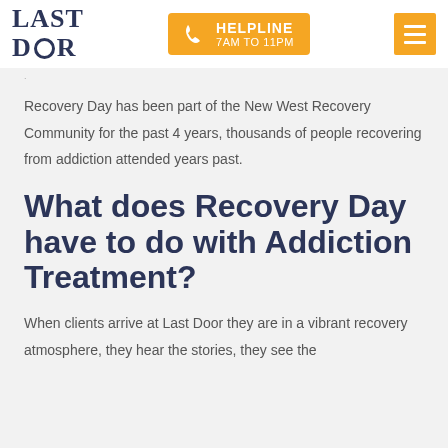LAST DOOR | HELPLINE 7AM TO 11PM
Recovery Day has been part of the New West Recovery Community for the past 4 years, thousands of people recovering from addiction attended years past.
What does Recovery Day have to do with Addiction Treatment?
When clients arrive at Last Door they are in a vibrant recovery atmosphere, they hear the stories, they see the